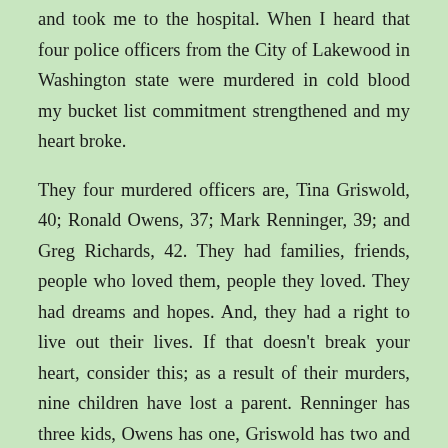and took me to the hospital. When I heard that four police officers from the City of Lakewood in Washington state were murdered in cold blood my bucket list commitment strengthened and my heart broke.
They four murdered officers are, Tina Griswold, 40; Ronald Owens, 37; Mark Renninger, 39; and Greg Richards, 42. They had families, friends, people who loved them, people they loved. They had dreams and hopes. And, they had a right to live out their lives. If that doesn’t break your heart, consider this; as a result of their murders, nine children have lost a parent. Renninger has three kids, Owens has one, Griswold has two and Richards has three
Law enforcement officers are human beings. Too many forget that. With a media addicted to reporting the worst in